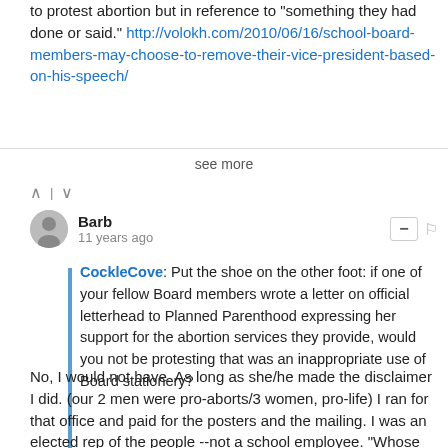to protest abortion but in reference to "something they had done or said." http://volokh.com/2010/06/16/school-board-members-may-choose-to-remove-their-vice-president-based-on-his-speech/
see more
Barb • 11 years ago
CockleCove: Put the shoe on the other foot: if one of your fellow Board members wrote a letter on official letterhead to Planned Parenthood expressing her support for the abortion services they provide, would you not be protesting that was an inappropriate use of Board stationery?
No, I would not have. As long as she/he made the disclaimer I did. (our 2 men were pro-aborts/3 women, pro-life) I ran for that office and paid for the posters and the mailing. I was an elected rep of the people --not a school employee. "Whose stationary is it anyway?" the Dayton paper asked -- and concluded, it was